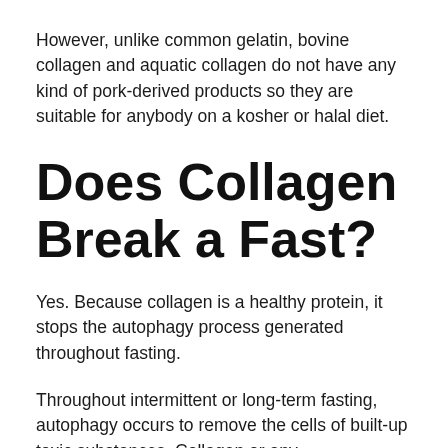However, unlike common gelatin, bovine collagen and aquatic collagen do not have any kind of pork-derived products so they are suitable for anybody on a kosher or halal diet.
Does Collagen Break a Fast?
Yes. Because collagen is a healthy protein, it stops the autophagy process generated throughout fasting.
Throughout intermittent or long-term fasting, autophagy occurs to remove the cells of built-up toxic substances. Collagen or any